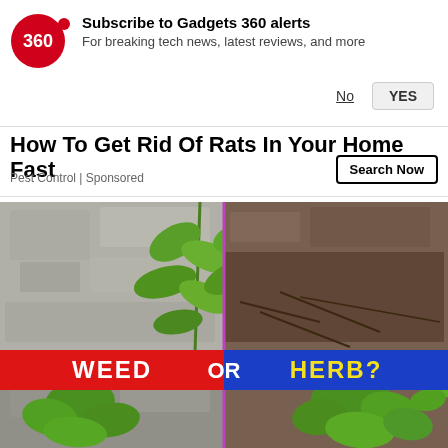[Figure (logo): Gadgets 360 logo — red circle with white '360' text and a small red dot to the right]
Subscribe to Gadgets 360 alerts
For breaking tech news, latest reviews, and more
No   YES
How To Get Rid Of Rats In Your Home Fast
Pest Control | Sponsored
Search Now
[Figure (photo): Split image showing plants growing between concrete/pavement on the left side and plants on soil on the right side, with a banner across the middle reading 'WEED OR HERB?' — left half red background with 'WEED', right half blue background with 'HERB?', 'OR' in white text at center divider]